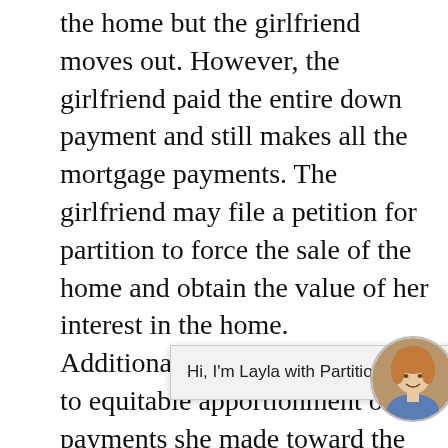the home but the girlfriend moves out. However, the girlfriend paid the entire down payment and still makes all the mortgage payments. The girlfriend may file a petition for partition to force the sale of the home and obtain the value of her interest in the home. Additionally, she may be subject to equitable apportionment of payments she made toward the house.
Three friends purchase a plot of land with the intent to build on it. One friend has a 50% interest in the land and the other two friends have 25% interests. Their plans to build on t[he land] de[teriorated and they disagree about] what to do with the land. Any of the friends may petition for a partition, including a
Hi, I'm Layla with Partition Lawyer California!